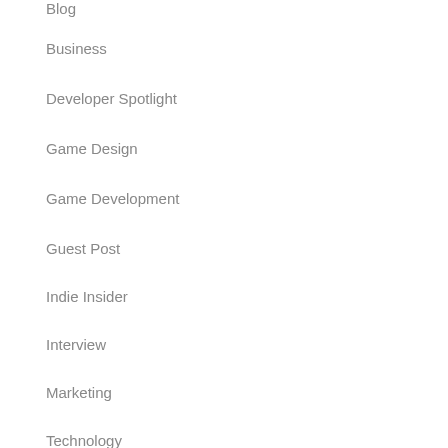Blog
Business
Developer Spotlight
Game Design
Game Development
Guest Post
Indie Insider
Interview
Marketing
Technology
Uncategorized
Writing
Archives
February 2021
November 2018